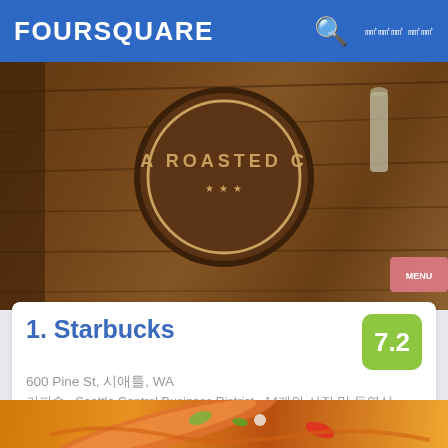FOURSQUARE
[Figure (photo): Starbucks coffee shop interior/sign showing a wooden surface with a circular roasted coffee logo, brown wood-grain background]
1. Starbucks
600 Pine St, 시애틀, WA
커피숍 · Seattle Central Business District · 14개의 사진 및 동영상
Josh van Hulst: I love the lively baristas. They are always very friendly and fast
[Figure (photo): Food photo showing colorful Asian dish with vegetables and sauce]